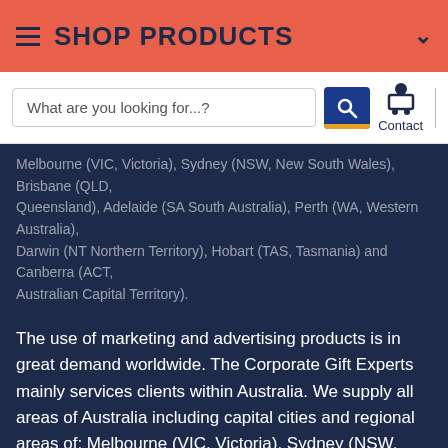SHOP PRODUCTS
What are you looking for...?
Melbourne (VIC, Victoria), Sydney (NSW, New South Wales), Brisbane (QLD, Queensland), Adelaide (SA South Australia), Perth (WA, Western Australia), Darwin (NT Northern Territory), Hobart (TAS, Tasmania) and Canberra (ACT, Australian Capital Territory).
The use of marketing and advertising products is in great demand worldwide. The Corporate Gift Experts mainly services clients within Australia. We supply all areas of Australia including capital cities and regional areas of: Melbourne (VIC, Victoria), Sydney (NSW, New South Wales), Brisbane (QLD, Queensland), Adelaide (SA South Australia), Perth (WA, Western Australia), Darwin (NT Northern Territory), Hobart (TAS, Tasmania) and Canberra (ACT, Australian Capital Territory).
* Quote requests will be reviewed, prepared and sent within a few hours. Please note that our minimum order value is